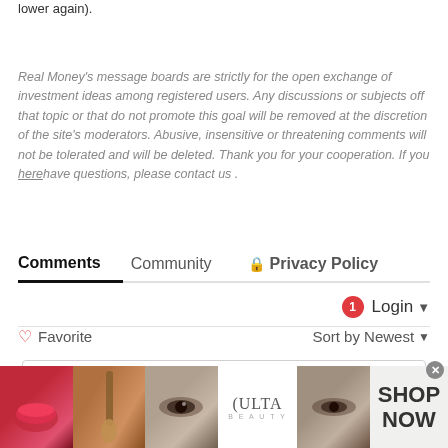lower again).
Real Money's message boards are strictly for the open exchange of investment ideas among registered users. Any discussions or subjects off that topic or that do not promote this goal will be removed at the discretion of the site's moderators. Abusive, insensitive or threatening comments will not be tolerated and will be deleted. Thank you for your cooperation. If you here have questions, please contact us .
Comments  Community  Privacy Policy
1  Login
♡ Favorite  Sort by Newest
Join the discussion...
[Figure (advertisement): Ulta Beauty advertisement banner with makeup images and SHOP NOW text]